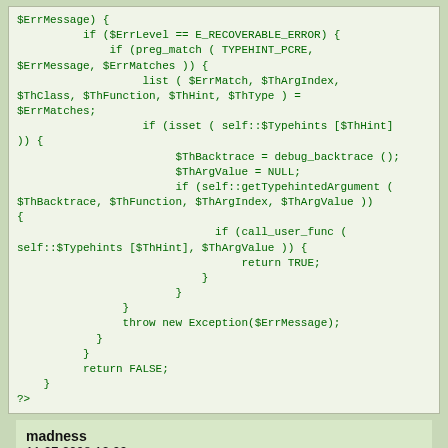[Figure (screenshot): PHP code block showing error handler implementation with typehints, backtrace, and exception throwing logic]
madness
11.07.2008 12:09
I must admit that Daniel's implementation is quite awesome (after all we'd be omonyms if I was english, omen nomen ;-) ), for everyone that already has a function/class to handle errors, this is a quick method to integrate the TypeHint class: